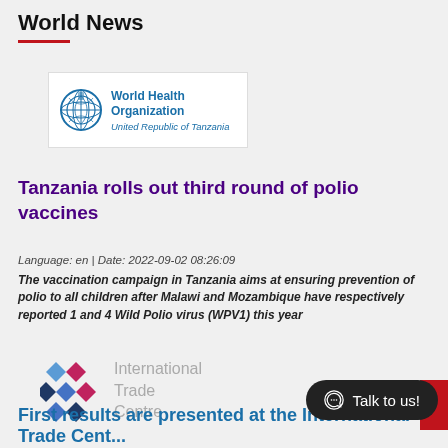World News
[Figure (logo): World Health Organization - United Republic of Tanzania logo with WHO emblem and blue text]
Tanzania rolls out third round of polio vaccines
Language: en | Date: 2022-09-02 08:26:09
The vaccination campaign in Tanzania aims at ensuring prevention of polio to all children after Malawi and Mozambique have respectively reported 1 and 4 Wild Polio virus (WPV1) this year
[Figure (logo): International Trade Centre logo with colored diamond shapes and grey text]
Talk to us!
First results are presented at the International Trade Cent...